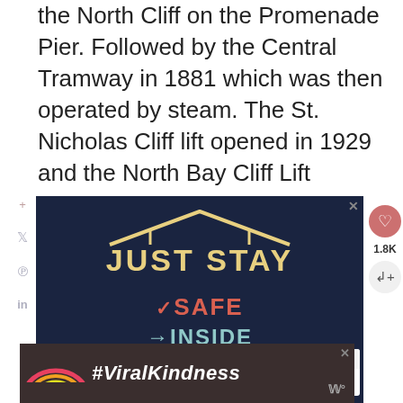the North Cliff on the Promenade Pier. Followed by the Central Tramway in 1881 which was then operated by steam. The St. Nicholas Cliff lift opened in 1929 and the North Bay Cliff Lift opened in 1930.
[Figure (screenshot): Advertisement banner with dark navy background showing 'JUST STAY' in yellow letters with a roof/house shape above, followed by 'SAFE' in red, 'INSIDE' in teal, 'POSITIVE' in gray/purple. A 'What's Next' panel shows 'Peasholm Park...' thumbnail. Social sharing icons on the left sidebar (Twitter, Pinterest, LinkedIn). Heart button with 1.8K count and share button on the right.]
[Figure (screenshot): Bottom advertisement banner with dark background showing a rainbow illustration on the left and '#ViralKindness' text in white italic on the right.]